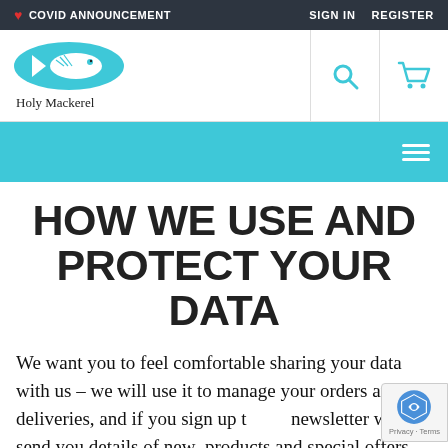❤ COVID ANNOUNCEMENT   SIGN IN   REGISTER
[Figure (logo): Holy Mackerel fish logo — teal oval with fish icon and 'Holy Mackerel' text below, with search and cart icons on the right]
[Figure (other): Cyan navigation strip with hamburger menu icon on the right]
HOW WE USE AND PROTECT YOUR DATA
We want you to feel comfortable sharing your data with us – we will use it to manage your orders and deliveries, and if you sign up to our newsletter we will send you details of new products and special offers. You can